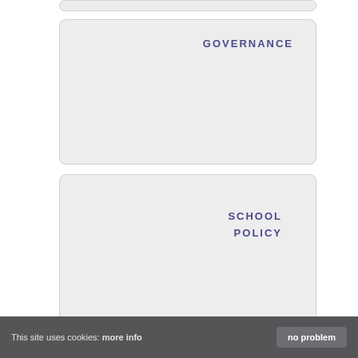[Figure (other): Light grey rounded rectangle card with label GOVERNANCE in purple uppercase letters]
[Figure (other): Light grey rounded rectangle card with label SCHOOL POLICY in purple uppercase letters on two lines]
This site uses cookies: more info
no problem